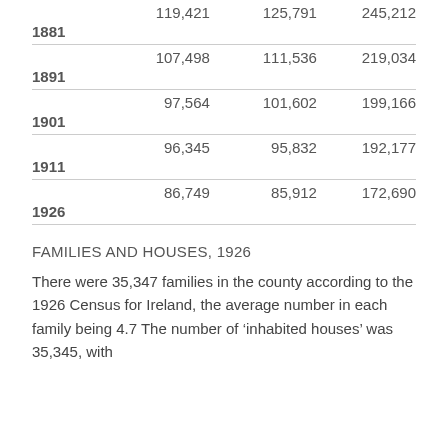|  | 119,421 | 125,791 | 245,212 |
| 1881 |  |  |  |
|  | 107,498 | 111,536 | 219,034 |
| 1891 |  |  |  |
|  | 97,564 | 101,602 | 199,166 |
| 1901 |  |  |  |
|  | 96,345 | 95,832 | 192,177 |
| 1911 |  |  |  |
|  | 86,749 | 85,912 | 172,690 |
| 1926 |  |  |  |
FAMILIES AND HOUSES, 1926
There were 35,347 families in the county according to the 1926 Census for Ireland, the average number in each family being 4.7 The number of ‘inhabited houses’ was 35,345, with